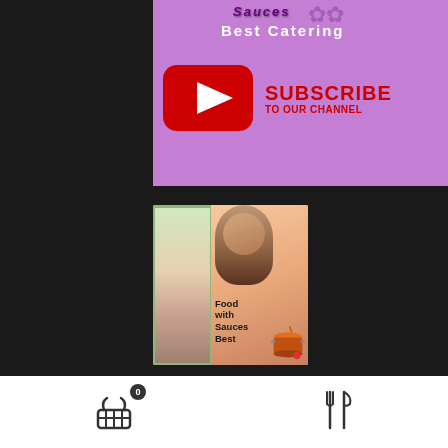[Figure (illustration): Purple catering channel banner with YouTube subscribe button. Shows 'Best Catering' branding text, purple background with flower decorations, red YouTube play button icon, and red text reading 'SUBSCRIBE TO OUR CHANNEL'.]
[Figure (photo): Podcast thumbnail image for 'Food with Sauces Best'. Shows a split image: left side with food/salad photo, right side with a woman's headshot on orange/peach gradient background, and a cartoon cooking pot icon. Text reads 'Food with Sauces Best'.]
click to visit my Podcast
[Figure (infographic): White bottom navigation bar with a shopping basket icon showing a badge with '0', and a fork-and-knife dining icon.]